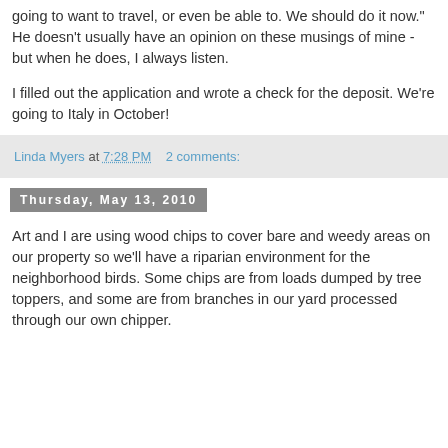going to want to travel, or even be able to. We should do it now." He doesn't usually have an opinion on these musings of mine - but when he does, I always listen.
I filled out the application and wrote a check for the deposit. We're going to Italy in October!
Linda Myers at 7:28 PM   2 comments:
Thursday, May 13, 2010
Art and I are using wood chips to cover bare and weedy areas on our property so we'll have a riparian environment for the neighborhood birds. Some chips are from loads dumped by tree toppers, and some are from branches in our yard processed through our own chipper.